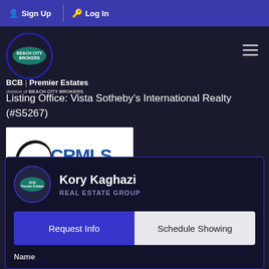Sign Up  Log In
[Figure (logo): Beach City Brokers circular logo with teal ellipse]
BCB | Premier Estates
division of BEACH CITY BROKERS
Listing Office: Vista Sotheby's International Realty (#S5267)
[Figure (logo): CRMLS - California Regional Multiple Listing Service, Inc. logo]
Kory Kaghazi
REAL ESTATE GROUP
Request Info
Schedule Showing
Name